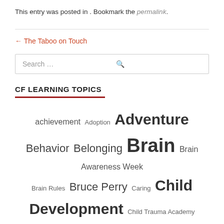This entry was posted in . Bookmark the permalink.
← The Taboo on Touch
Search …
CF LEARNING TOPICS
achievement Adoption Adventure Behavior Belonging Brain Brain Awareness Week Brain Rules Bruce Perry Caring Child Development Child Trauma Academy classroom connection DANA Daniel Siegel Discipline education empathy Harvard Holiday John Medina Karyn Purvis Kid